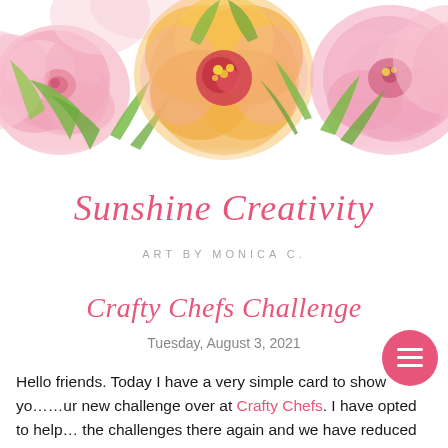[Figure (illustration): Watercolor floral banner with pink, orange, and white peonies/roses and green leaves across the top of the page]
Sunshine Creativity
ART BY MONICA C.
Crafty Chefs Challenge
Tuesday, August 3, 2021
Hello friends. Today I have a very simple card to show you for a new challenge over at Crafty Chefs. I have opted to help run the challenges there again and we have reduced the recipe to only two ingredients. This month it is "Use a die cut and add a sentiment to the front of your card". Here is my make.